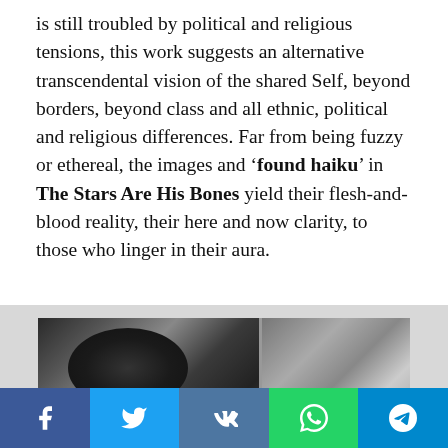is still troubled by political and religious tensions, this work suggests an alternative transcendental vision of the shared Self, beyond borders, beyond class and all ethnic, political and religious differences. Far from being fuzzy or ethereal, the images and 'found haiku' in The Stars Are His Bones yield their flesh-and-blood reality, their here and now clarity, to those who linger in their aura.
[Figure (photo): Black and white photograph showing a close-up of hands gripping a chain with a person's face partially visible, alongside a second image of a figure in an outdoor setting]
Facebook | Twitter | VK | WhatsApp | Telegram